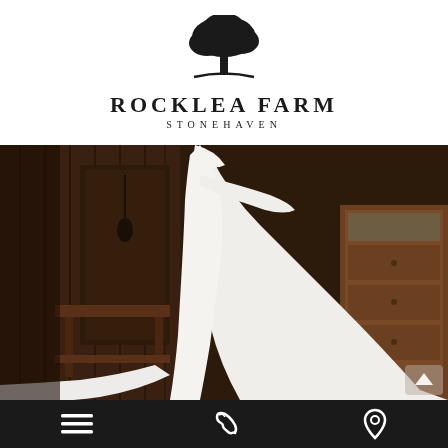[Figure (logo): Rocklea Farm Stonehaven logo with a large oak tree silhouette above a curved ground line, text ROCKLEA FARM in bold serif uppercase, STONEHAVEN in spaced smaller capitals below]
[Figure (photo): A bride in a long white satin wedding dress with a dramatic train, standing in a rustic barn interior with dark wood furniture including a bench and dresser in the background. The bride faces away showing the back of the gown. A scroll-up arrow button is visible in the bottom right corner of the photo.]
[Figure (other): Mobile navigation bar at bottom with three white icons on dark background: hamburger menu (three horizontal lines) on left, phone/handset icon in center, location pin icon on right]